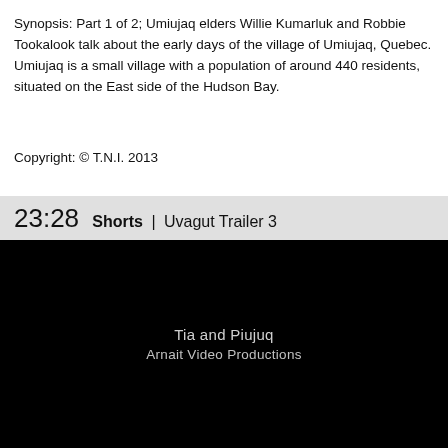Synopsis: Part 1 of 2; Umiujaq elders Willie Kumarluk and Robbie Tookalook talk about the early days of the village of Umiujaq, Quebec. Umiujaq is a small village with a population of around 440 residents, situated on the East side of the Hudson Bay.
Copyright: © T.N.I. 2013
23:28 Shorts | Uvagut Trailer 3
[Figure (screenshot): Black video frame showing white text 'Tia and Piujuq' and 'Arnait Video Productions' centered on screen]